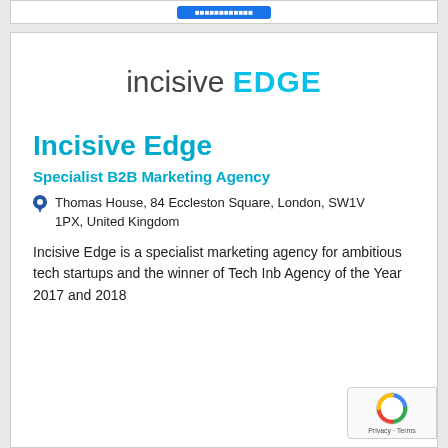[Figure (logo): Incisive Edge logo with 'incisive' in grey and 'EDGE' in bold cyan/blue]
Incisive Edge
Specialist B2B Marketing Agency
Thomas House, 84 Eccleston Square, London, SW1V 1PX, United Kingdom
Incisive Edge is a specialist marketing agency for ambitious tech startups and the winner of Tech Inb Agency of the Year 2017 and 2018